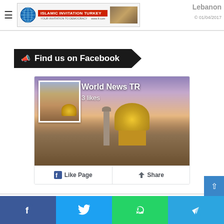Islamic Invitation Turkey - World News TR
Lebanon
Find us on Facebook
[Figure (screenshot): Facebook page widget for 'World News TR' showing 3 likes, with Dome of the Rock background image, Like Page and Share buttons]
Facebook | Twitter | WhatsApp | Telegram social share bar